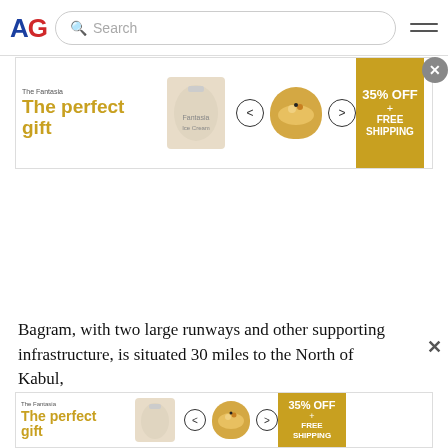AG logo + Search bar + hamburger menu
[Figure (screenshot): Advertisement banner: 'The perfect gift' with product images, navigation arrows, and '35% OFF + FREE SHIPPING' promo in gold background]
Bagram, with two large runways and other supporting infrastructure, is situated 30 miles to the North of Kabul,
[Figure (screenshot): Bottom advertisement banner: 'The perfect gift' with product images, navigation arrows, and '35% OFF + FREE SHIPPING' promo in gold background]